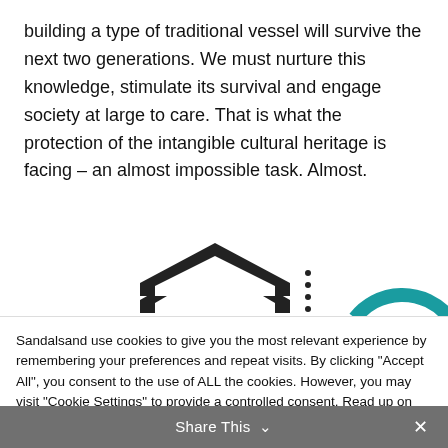building a type of traditional vessel will survive the next two generations. We must nurture this knowledge, stimulate its survival and engage society at large to care. That is what the protection of the intangible cultural heritage is facing – an almost impossible task. Almost.
[Figure (logo): Partial view of two logos side by side: a dark chevron/arrow logo on the left with a vertical dotted line separator, and a teal arc/dome shape on the right]
Sandalsand use cookies to give you the most relevant experience by remembering your preferences and repeat visits. By clicking "Accept All", you consent to the use of ALL the cookies. However, you may visit "Cookie Settings" to provide a controlled consent. Read up on privacy
Cookie Settings | Accept All
Share This ∨ ✕